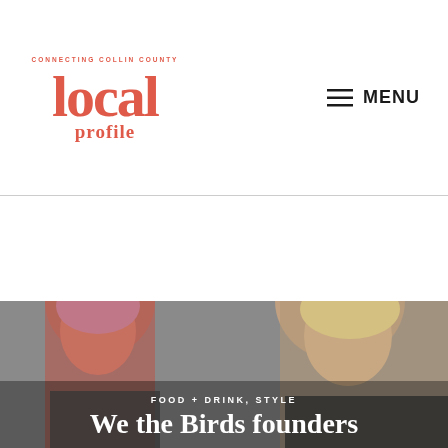[Figure (logo): Local Profile magazine logo — red serif wordmark reading 'local profile' with 'CONNECTING COLLIN COUNTY' tagline above]
≡ MENU
[Figure (photo): Two women against a gray background — left woman has pink/auburn hair, right woman has blonde hair. Article hero image for 'We the Birds founders'.]
FOOD + DRINK, STYLE
We the Birds founders